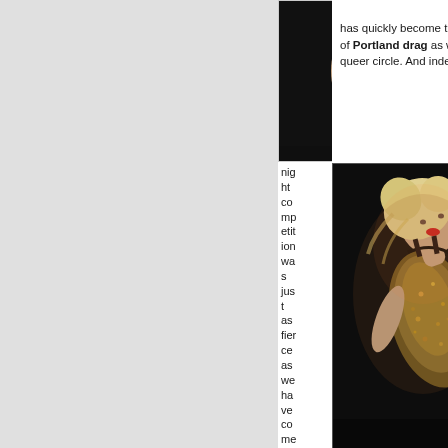[Figure (photo): Performer in a black and gold sequin outfit on stage, blonde hair, dark background. Top portion of image.]
competition Miss Thing at the Fez has quickly become the show to experience the breadth of Portland drag as well as a who's who of almost every queer circle. And indeed, that night competition was just as fierce as we have come to ex
[Figure (photo): Performer in black and gold sequin outfit leaning back dramatically on stage, blonde hair, with another person visible behind them, warm stage lighting on dark background.]